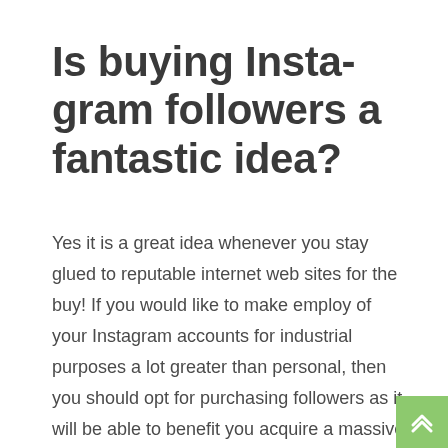Is buying Insta-gram followers a fantastic idea?
Yes it is a great idea whenever you stay glued to reputable internet web sites for the buy! If you would like to make employ of your Instagram accounts for industrial purposes a lot greater than personal, then you should opt for purchasing followers as it will be able to benefit you acquire a massive advantage and grow faster compared to many others in your specialty. Our set of internet sites supplies you with a harmless road map of where you should purchase targeted followers.